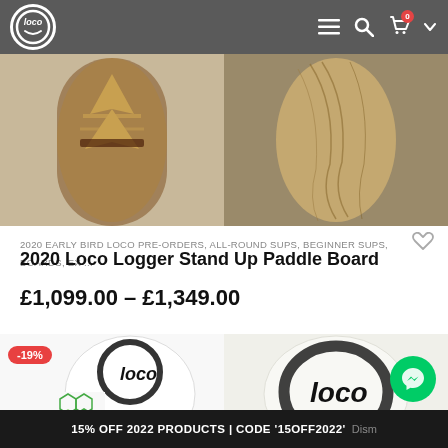[Figure (screenshot): Website navigation bar with Loco logo on left, hamburger menu, search icon, cart icon with 0 badge, and dropdown arrow on right, on dark grey background]
[Figure (photo): Two paddle board product images: left board shows geometric chevron pattern in brown/tan tones, right board shows wood grain texture in brown/tan tones]
2020 EARLY BIRD LOCO PRE-ORDERS, ALL-ROUND SUPS, BEGINNER SUPS, BOARDS, EX ...
2020 Loco Logger Stand Up Paddle Board
£1,099.00 – £1,349.00
[Figure (photo): Two paddle board product images bottom row: left board is white with green honeycomb pattern and Loco circle logo, with -19% discount badge; right board is white with large Loco circle stamp logo]
15% OFF 2022 PRODUCTS | CODE '15OFF2022' Dism...